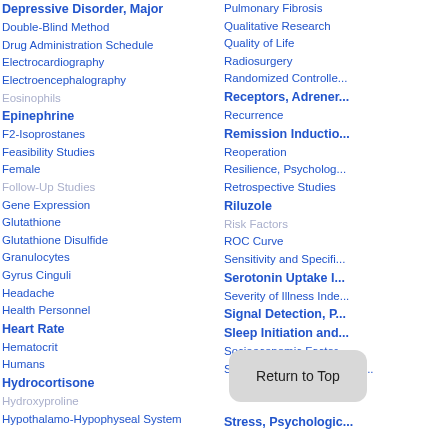Depressive Disorder, Major
Double-Blind Method
Drug Administration Schedule
Electrocardiography
Electroencephalography
Eosinophils
Epinephrine
F2-Isoprostanes
Feasibility Studies
Female
Follow-Up Studies
Gene Expression
Glutathione
Glutathione Disulfide
Granulocytes
Gyrus Cinguli
Headache
Health Personnel
Heart Rate
Hematocrit
Humans
Hydrocortisone
Hydroxyproline
Hypothalamo-Hypophyseal System
Pulmonary Fibrosis
Qualitative Research
Quality of Life
Radiosurgery
Randomized Controlled...
Receptors, Adrener...
Recurrence
Remission Inductio...
Reoperation
Resilience, Psycholog...
Retrospective Studies
Riluzole
Risk Factors
ROC Curve
Sensitivity and Specifi...
Serotonin Uptake I...
Severity of Illness Inde...
Signal Detection, P...
Sleep Initiation and...
Socioeconomic Factor...
Specific Pattern-Fre... ompr...
Stress, Psychologic...